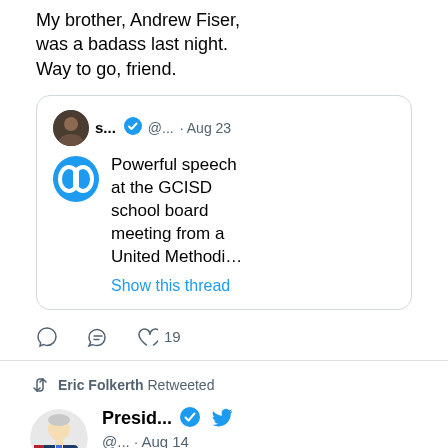My brother, Andrew Fiser, was a badass last night. Way to go, friend.
[Figure (screenshot): Quoted tweet with avatar, verified badge, handle, date 'Aug 23', logo icon, and text: 'Powerful speech at the GCISD school board meeting from a United Methodi… Show this thread']
19 (likes)
Eric Folkerth Retweeted
[Figure (screenshot): President Biden's Twitter profile with avatar, verified badge, Twitter bird logo, handle @..., date Aug 14, United States flag emoji]
Imagine a world where people pop the hood of their